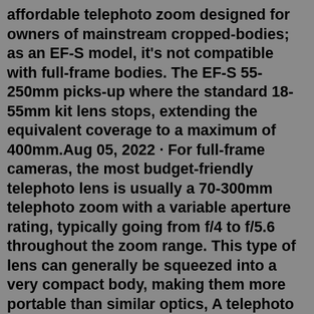affordable telephoto zoom designed for owners of mainstream cropped-bodies; as an EF-S model, it's not compatible with full-frame bodies. The EF-S 55-250mm picks-up where the standard 18-55mm kit lens stops, extending the equivalent coverage to a maximum of 400mm.Aug 05, 2022 · For full-frame cameras, the most budget-friendly telephoto lens is usually a 70-300mm telephoto zoom with a variable aperture rating, typically going from f/4 to f/5.6 throughout the zoom range. This type of lens can generally be squeezed into a very compact body, making them more portable than similar optics, A telephoto lens is one designed for photographing distant subjects like wildlife and sports events. They are also used in portrait photography. A telephoto lens is a type of camera lens designed for taking photographs of subjects at moderate to far distances. Also known as a "tele lens" or "long lens", they are a type of long-focus lens which ...Sandmarc telefoto lens, birinci sınıf çok kaplamalı ve çok elemanlı